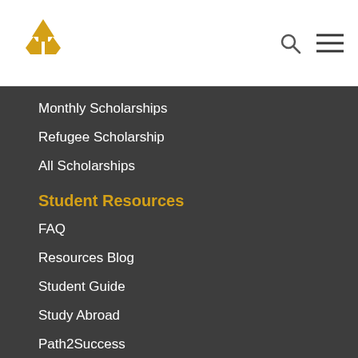Logo, Search icon, Menu icon
Monthly Scholarships
Refugee Scholarship
All Scholarships
Student Resources
FAQ
Resources Blog
Student Guide
Study Abroad
Path2Success
International Students’ Guide to Studying in the U.S.
Useful Links